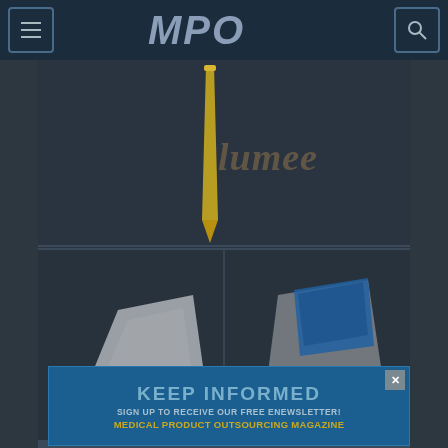MPO - Medical Product Outsourcing Magazine
[Figure (photo): Medical device product photos - yellow/gold colored medical probes or instruments shown from multiple angles against dark background. Top image shows device with 'lumee' branding. Bottom row shows two angle views of the same device with attached cable.]
[Figure (infographic): Newsletter signup banner: KEEP INFORMED - SIGN UP TO RECEIVE OUR FREE ENEWSLETTER! MEDICAL PRODUCT OUTSOURCING MAGAZINE]